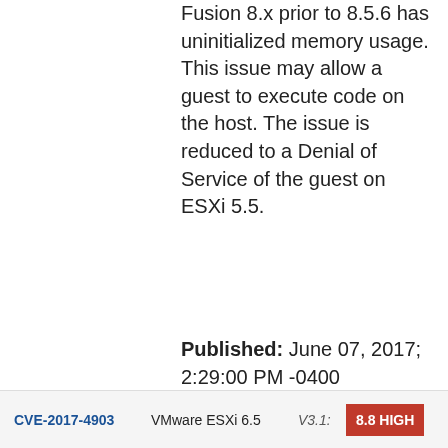Fusion 8.x prior to 8.5.6 has uninitialized memory usage. This issue may allow a guest to execute code on the host. The issue is reduced to a Denial of Service of the guest on ESXi 5.5.
Published: June 07, 2017; 2:29:00 PM -0400
| CVE ID | Product | Version | Score |
| --- | --- | --- | --- |
| CVE-2017-4903 | VMware ESXi 6.5 | V3.1: | 8.8 HIGH |